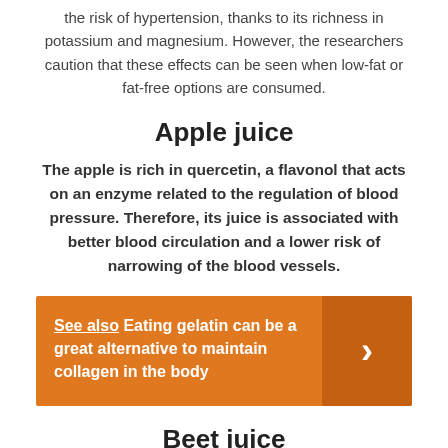the risk of hypertension, thanks to its richness in potassium and magnesium. However, the researchers caution that these effects can be seen when low-fat or fat-free options are consumed.
Apple juice
The apple is rich in quercetin, a flavonol that acts on an enzyme related to the regulation of blood pressure. Therefore, its juice is associated with better blood circulation and a lower risk of narrowing of the blood vessels.
See also  Eating gelatin can be a great alternative to maintain collagen in the body
Beet juice